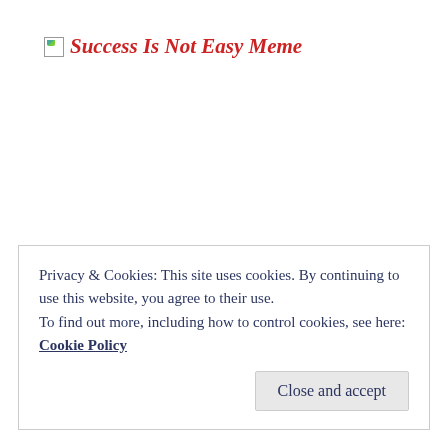Success Is Not Easy Meme
Privacy & Cookies: This site uses cookies. By continuing to use this website, you agree to their use.
To find out more, including how to control cookies, see here:
Cookie Policy
Close and accept